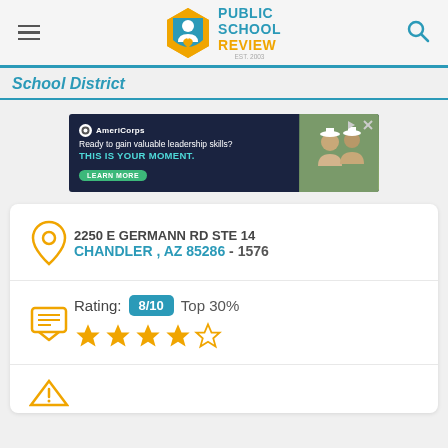Public School Review EST. 2003
School District
[Figure (screenshot): AmeriCorps advertisement: Ready to gain valuable leadership skills? THIS IS YOUR MOMENT. LEARN MORE]
2250 E GERMANN RD STE 14 CHANDLER , AZ 85286 - 1576
Rating: 8/10 Top 30% ★★★★☆